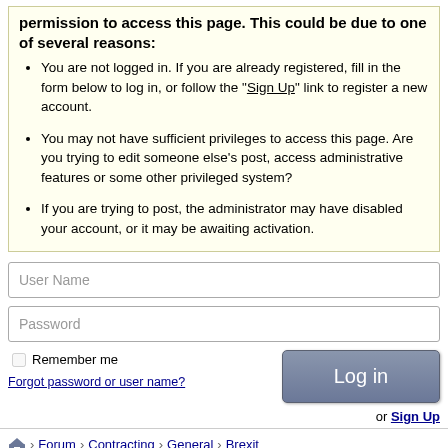permission to access this page. This could be due to one of several reasons:
You are not logged in. If you are already registered, fill in the form below to log in, or follow the "Sign Up" link to register a new account.
You may not have sufficient privileges to access this page. Are you trying to edit someone else's post, access administrative features or some other privileged system?
If you are trying to post, the administrator may have disabled your account, or it may be awaiting activation.
User Name
Password
Remember me
Forgot password or user name?
Log in
or Sign Up
Home > Forum > Contracting > General > Brexit
Previously on "Not a member"